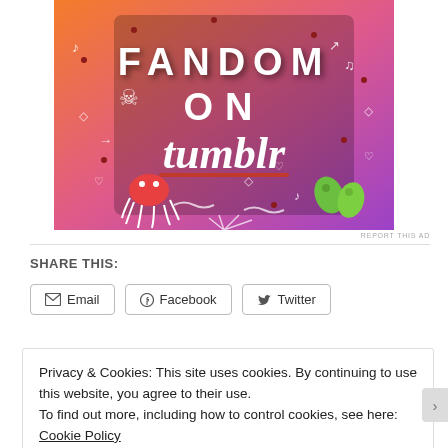[Figure (illustration): Tumblr 'Fandom on Tumblr' promotional banner with colorful orange-to-purple gradient background, white illustrated doodles (skull, music notes, hearts, arrows, leaves, sun, octopus), large white bold text reading 'FANDOM ON tumblr']
REPORT THIS AD
SHARE THIS:
Email  Facebook  Twitter
Privacy & Cookies: This site uses cookies. By continuing to use this website, you agree to their use.
To find out more, including how to control cookies, see here: Cookie Policy
Close and accept